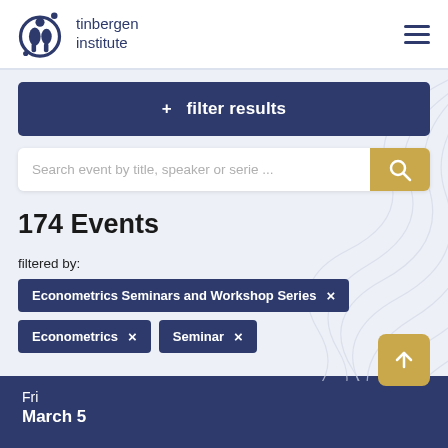tinbergen institute
+ filter results
Search event by title, speaker or serie ...
174 Events
filtered by:
Econometrics Seminars and Workshop Series ×
Econometrics × Seminar ×
Fri